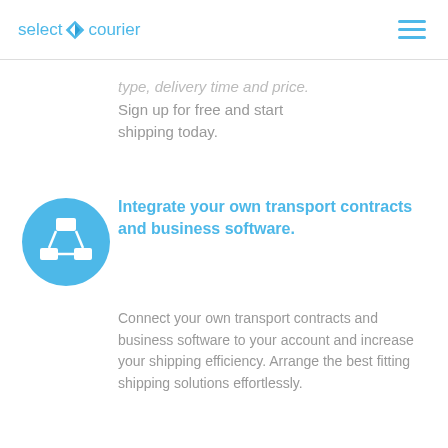select courier
type, delivery time and price. Sign up for free and start shipping today.
[Figure (illustration): Blue circle icon with a network/transport diagram symbol (nodes connected by lines) in white]
Integrate your own transport contracts and business software.
Connect your own transport contracts and business software to your account and increase your shipping efficiency. Arrange the best fitting shipping solutions effortlessly.